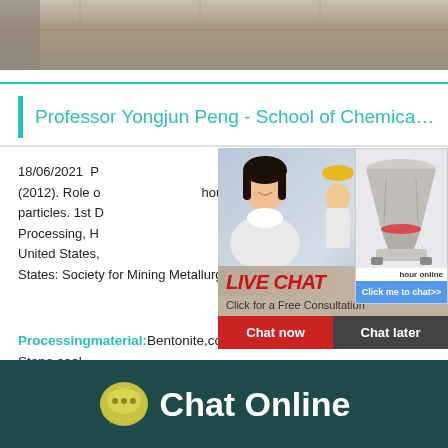[Figure (photo): Top banner: industrial facility or material processing equipment, metallic gray tones]
Professor Yongjun Peng - School of Chemical …
18/06/2021  P… dshaw. Dee (2012). Role o… particles. 1st D… Processing, H… United States,… States: Society for Mining Metallurgy and Ex…
[Figure (screenshot): Live Chat popup overlay showing workers in hard hats and a woman, with LIVE CHAT red text, 'Click for a Free Consultation', Chat now and Chat later buttons, and a cone crusher machine ad on the right with Click me to chat>> button]
Processingmaterial:Bentonite,construction wa… Stone,coal
[Figure (infographic): Dark teal footer bar with speech bubble icon and Chat Online text in white]